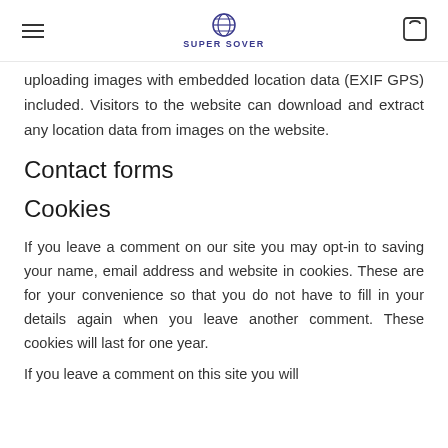SUPER SOVER
uploading images with embedded location data (EXIF GPS) included. Visitors to the website can download and extract any location data from images on the website.
Contact forms
Cookies
If you leave a comment on our site you may opt-in to saving your name, email address and website in cookies. These are for your convenience so that you do not have to fill in your details again when you leave another comment. These cookies will last for one year.
If you leave a comment on this site you will...